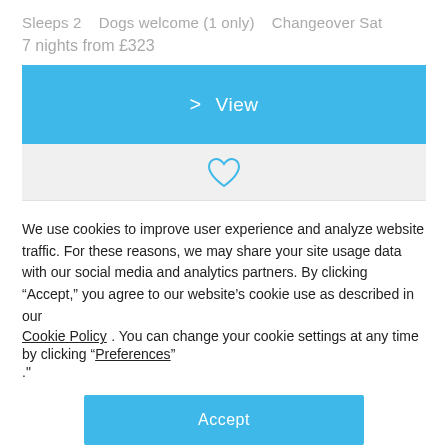Sleeps 2   Dogs welcome (1 only)   Changeover Sat
7 nights from £323
[Figure (screenshot): Blue 'View' button with chevron icon]
[Figure (illustration): Heart/favourite icon outline in blue]
We use cookies to improve user experience and analyze website traffic. For these reasons, we may share your site usage data with our social media and analytics partners. By clicking “Accept,” you agree to our website’s cookie use as described in our Cookie Policy . You can change your cookie settings at any time by clicking “Preferences”.
[Figure (screenshot): Blue 'Accept' button for cookie consent]